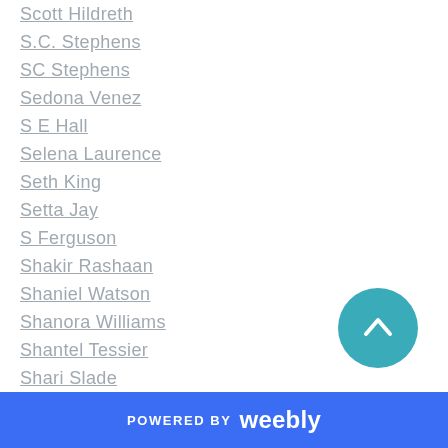Scott Hildreth
S.C. Stephens
SC Stephens
Sedona Venez
S E Hall
Selena Laurence
Seth King
Setta Jay
S Ferguson
Shakir Rashaan
Shaniel Watson
Shanora Williams
Shantel Tessier
Shari Slade
Sharon Johnson
Shayla Black
Shea Swain
POWERED BY weebly